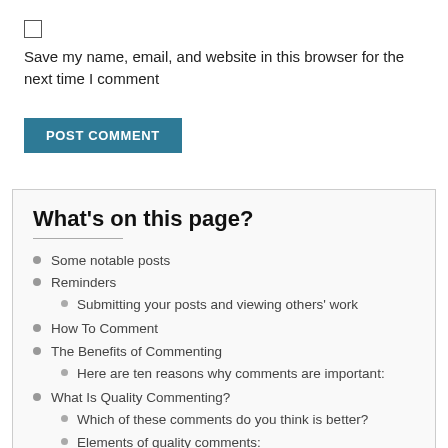Save my name, email, and website in this browser for the next time I comment
POST COMMENT
What's on this page?
Some notable posts
Reminders
Submitting your posts and viewing others' work
How To Comment
The Benefits of Commenting
Here are ten reasons why comments are important:
What Is Quality Commenting?
Which of these comments do you think is better?
Elements of quality comments: